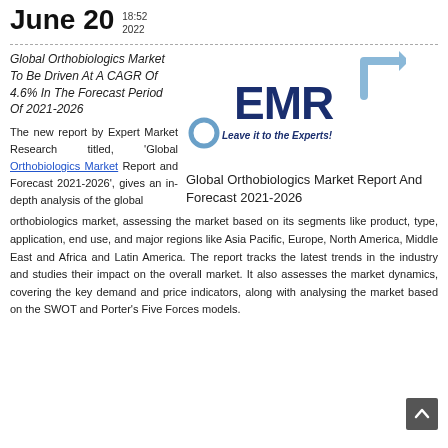June 20  18:52 2022
Global Orthobiologics Market To Be Driven At A CAGR Of 4.6% In The Forecast Period Of 2021-2026
[Figure (logo): EMR (Expert Market Research) logo with arrow graphic and tagline 'Leave it to the Experts!']
Global Orthobiologics Market Report And Forecast 2021-2026
The new report by Expert Market Research titled, 'Global Orthobiologics Market Report and Forecast 2021-2026', gives an in-depth analysis of the global orthobiologics market, assessing the market based on its segments like product, type, application, end use, and major regions like Asia Pacific, Europe, North America, Middle East and Africa and Latin America. The report tracks the latest trends in the industry and studies their impact on the overall market. It also assesses the market dynamics, covering the key demand and price indicators, along with analysing the market based on the SWOT and Porter's Five Forces models.